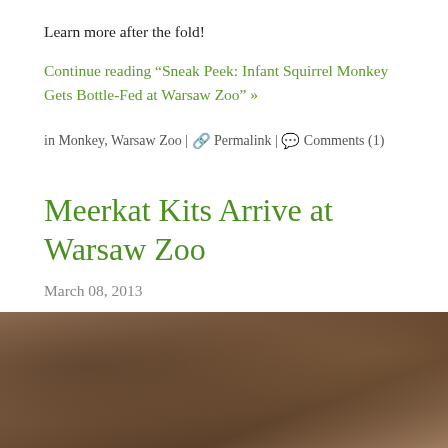Learn more after the fold!
Continue reading “Sneak Peek: Infant Squirrel Monkey Gets Bottle-Fed at Warsaw Zoo” »
in Monkey, Warsaw Zoo | Permalink | Comments (1)
Meerkat Kits Arrive at Warsaw Zoo
March 08, 2013
[Figure (photo): Photo of meerkats at Warsaw Zoo, brownish earthy tones]